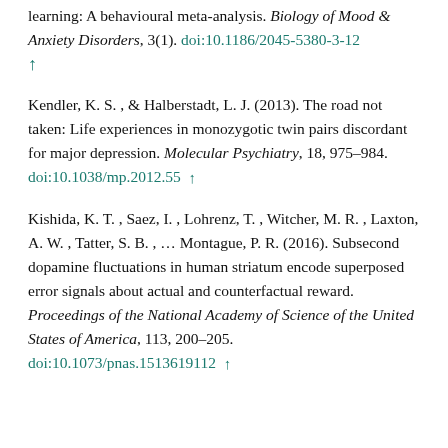learning: A behavioural meta-analysis. Biology of Mood & Anxiety Disorders, 3(1). doi:10.1186/2045-5380-3-12 ↑
Kendler, K. S. , & Halberstadt, L. J. (2013). The road not taken: Life experiences in monozygotic twin pairs discordant for major depression. Molecular Psychiatry, 18, 975–984. doi:10.1038/mp.2012.55 ↑
Kishida, K. T. , Saez, I. , Lohrenz, T. , Witcher, M. R. , Laxton, A. W. , Tatter, S. B. , ... Montague, P. R. (2016). Subsecond dopamine fluctuations in human striatum encode superposed error signals about actual and counterfactual reward. Proceedings of the National Academy of Science of the United States of America, 113, 200–205. doi:10.1073/pnas.1513619112 ↑